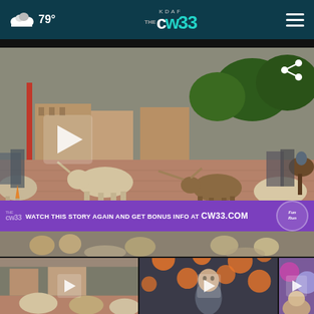79° KDAF CW33 (hamburger menu)
[Figure (screenshot): Main video player showing longhorn cattle being herded down a brick street in Fort Worth Stockyards, with spectators on both sides. Purple banner overlay reads: WATCH THIS STORY AGAIN AND GET BONUS INFO AT CW33.COM. Play button visible on left side.]
[Figure (screenshot): Thumbnail 1: Longhorn cattle herd on brick street, play button overlay]
[Figure (screenshot): Thumbnail 2: Man speaking in front of orange dot display, play button overlay]
[Figure (screenshot): Thumbnail 3: Partially visible, colorful background with person, play button overlay]